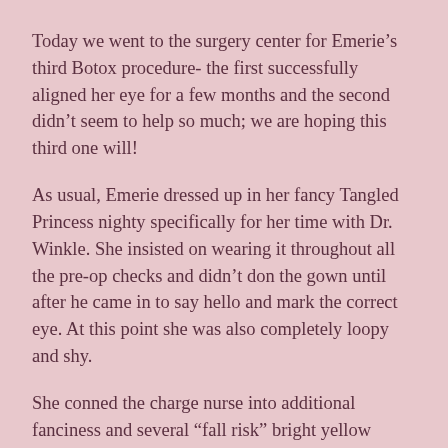Today we went to the surgery center for Emerie's third Botox procedure- the first successfully aligned her eye for a few months and the second didn't seem to help so much; we are hoping this third one will!
As usual, Emerie dressed up in her fancy Tangled Princess nighty specifically for her time with Dr. Winkle. She insisted on wearing it throughout all the pre-op checks and didn't don the gown until after he came in to say hello and mark the correct eye. At this point she was also completely loopy and shy.
She conned the charge nurse into additional fanciness and several “fall risk” bright yellow bracelets on her arm and leg and a blanket for her stuffed animal.
The grape flavored versed was gobbled down and immediately took effect on perception, beginning the